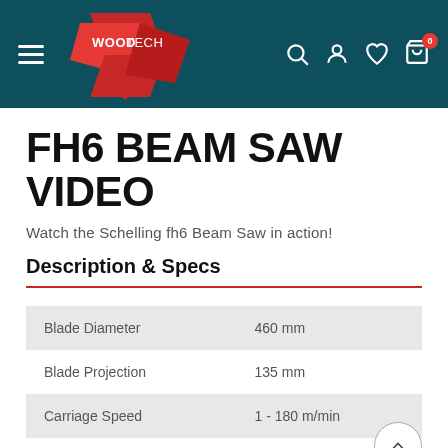[Figure (logo): WoodTech logo with red angular shapes and text WOODTECH on teal navigation bar]
FH6 BEAM SAW VIDEO
Watch the Schelling fh6 Beam Saw in action!
Description & Specs
| Spec | Value |
| --- | --- |
| Blade Diameter | 460 mm |
| Blade Projection | 135 mm |
| Carriage Speed | 1 - 180 m/min |
| Pusher Speed | 1 - 180 m/min |